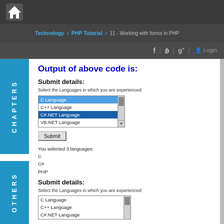Technology > PHP Tutorial > 11 - Working with forms in PHP
Output of above code is:
Submit details:
Select the Languages in which you are experienced:
[Figure (screenshot): A multi-select listbox showing: C Language (highlighted blue), C++ Language, C#.NET Language (highlighted dark blue), VB.NET Language with scrollbar]
[Figure (screenshot): Submit button (raised/outset style)]
You selected 3 languages:
C
C#
PHP
Submit details:
Select the Languages in which you are experienced:
[Figure (screenshot): A multi-select listbox showing: C Language, C++ Language, C#.NET Language with scrollbar (partially visible)]